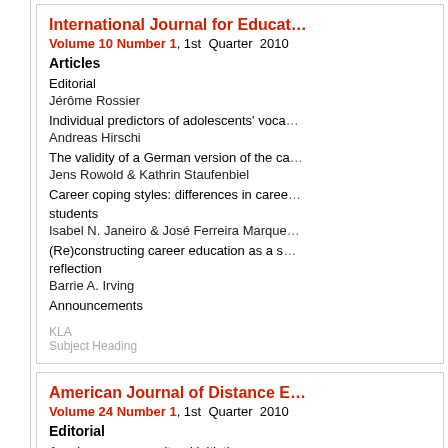International Journal for Educat...
Volume 10 Number 1, 1st Quarter 2010
Articles
Editorial
Jérôme Rossier
Individual predictors of adolescents' voca...
Andreas Hirschi
The validity of a German version of the ca...
Jens Rowold & Kathrin Staufenbiel
Career coping styles: differences in caree... students
Isabel N. Janeiro & José Ferreira Marque...
(Re)constructing career education as a s... reflection
Barrie A. Irving
Announcements
KLA
Subject Heading
American Journal of Distance E...
Volume 24 Number 1, 1st Quarter 2010
Editorial
A welcome cross-cultural initiative
Michael Grahame Moore